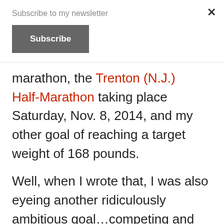Subscribe to my newsletter
Subscribe
marathon, the Trenton (N.J.) Half-Marathon taking place Saturday, Nov. 8, 2014, and my other goal of reaching a target weight of 168 pounds.
Well, when I wrote that, I was also eyeing another ridiculously ambitious goal…competing and finishing in the Atlantic City International Triathlon on Sept. 14, 2014. However, I was still waiting to hear back from the organizers regarding a